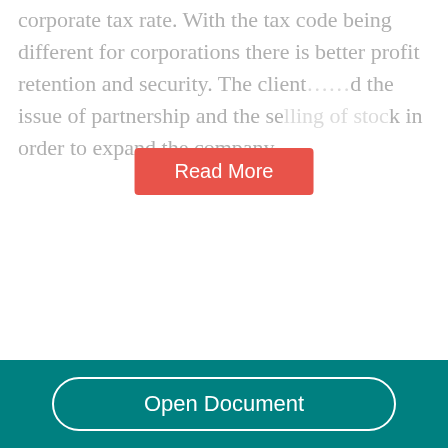corporate tax rate. With the tax code being different for corporations there is better profit retention and security. The client…d the issue of partnership and the selling of stock in order to expand the company....
Fin 517 Week 9
638 Words  | 3 Pages
The total value of the levered firm exceeds the